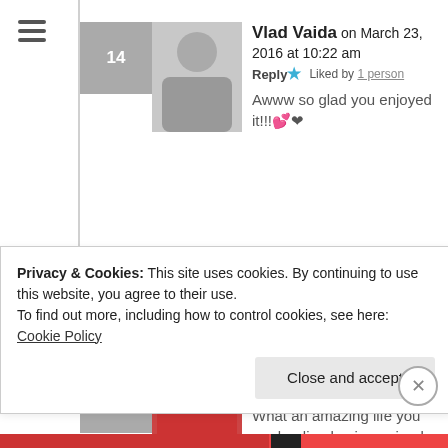14 - Vlad Vaida on March 23, 2016 at 10:22 am - Reply - Liked by 1 person - Awww so glad you enjoyed it!!! 💕❤
15 - Wendy on March 23, 2016 at 10:33 am - Like - What an amazing life you are leading having gained this knowledge so young. Enjoy living to your true potential...
Privacy & Cookies: This site uses cookies. By continuing to use this website, you agree to their use. To find out more, including how to control cookies, see here: Cookie Policy
Close and accept